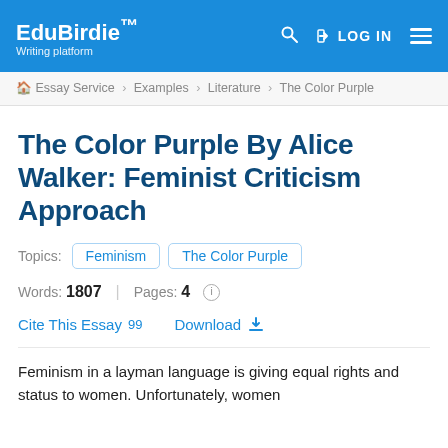EduBirdie™ Writing platform | LOG IN
Essay Service › Examples › Literature › The Color Purple
The Color Purple By Alice Walker: Feminist Criticism Approach
Topics: Feminism | The Color Purple
Words: 1807 | Pages: 4
Cite This Essay 99   Download
Feminism in a layman language is giving equal rights and status to women. Unfortunately, women